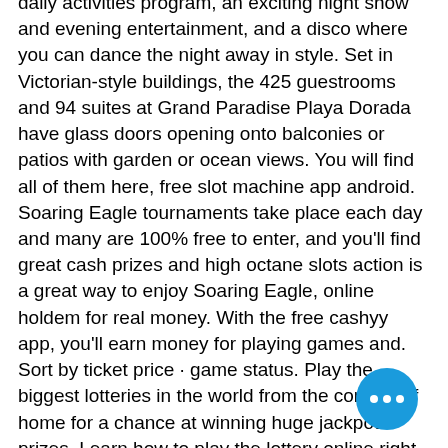daily activities program, an exciting night show and evening entertainment, and a disco where you can dance the night away in style. Set in Victorian-style buildings, the 425 guestrooms and 94 suites at Grand Paradise Playa Dorada have glass doors opening onto balconies or patios with garden or ocean views. You will find all of them here, free slot machine app android. Soaring Eagle tournaments take place each day and many are 100% free to enter, and you'll find great cash prizes and high octane slots action is a great way to enjoy Soaring Eagle, online holdem for real money. With the free cashyy app, you'll earn money for playing games and. Sort by ticket price · game status. Play the biggest lotteries in the world from the comfort of home for a chance at winning huge jackpot prizes. Learn how to play the lottery online right. Some games offer a scratch-off system, which means you will know if. $5 free when you make your first
[Figure (other): Blue circular floating action button with three white dots (ellipsis/more options icon)]